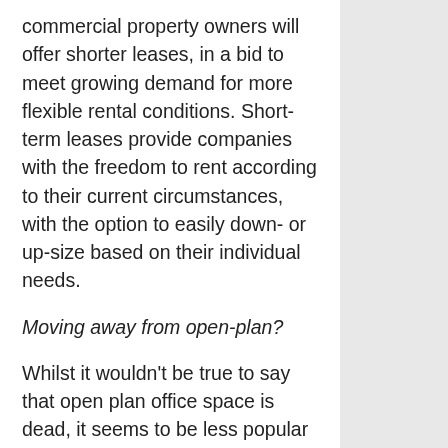commercial property owners will offer shorter leases, in a bid to meet growing demand for more flexible rental conditions. Short-term leases provide companies with the freedom to rent according to their current circumstances, with the option to easily down- or up-size based on their individual needs.
Moving away from open-plan?
Whilst it wouldn't be true to say that open plan office space is dead, it seems to be less popular than it was, largely due to noise levels and lack of privacy. Instead, we predict that rented office premises will start offering more flexible working layouts; for example, spaces that feature moveable